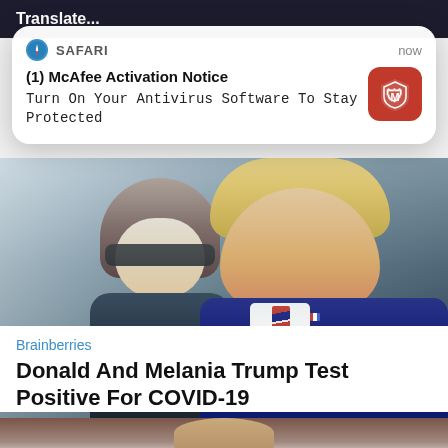Translate...
[Figure (screenshot): Safari browser push notification card showing McAfee Activation Notice with text 'Turn On Your Antivirus Software To Stay Protected' and McAfee logo icon, timestamped 'now']
[Figure (photo): Photo of Donald Trump and Melania Trump walking, Trump in dark blue suit with striped tie, Melania in dark outfit with sunglasses]
Brainberries
Donald And Melania Trump Test Positive For COVID-19
[Figure (photo): Partial photo at bottom of page showing a person's face with eyes closed]